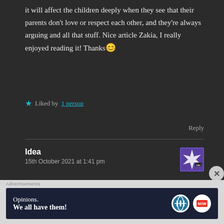it will affect the children deeply when they see that their parents don't love or respect each other, and they're always arguing and all that stuff. Nice article Zakia, I really enjoyed reading it! Thanks😊
★ Liked by 1 person
Reply
Idea
15th October 2021 at 1:41 pm
[Figure (illustration): Purple and white avatar/gravatar icon for user Idea]
👍 0 👎 0 ℹ Rate This
Advertisements
[Figure (screenshot): Advertisement banner: 'Opinions. We all have them!' with WordPress logo and NOW logo on dark blue background]